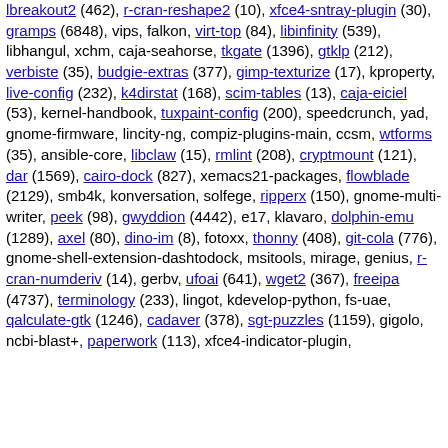lbreakout2 (462), r-cran-reshape2 (10), xfce4-sntray-plugin (30), gramps (6848), vips, falkon, virt-top (84), libinfinity (539), libhangul, xchm, caja-seahorse, tkgate (1396), gtklp (212), verbiste (35), budgie-extras (377), gimp-texturize (17), kproperty, live-config (232), k4dirstat (168), scim-tables (13), caja-eiciel (53), kernel-handbook, tuxpaint-config (200), speedcrunch, yad, gnome-firmware, lincity-ng, compiz-plugins-main, ccsm, wtforms (35), ansible-core, libclaw (15), rmlint (208), cryptmount (121), dar (1569), cairo-dock (827), xemacs21-packages, flowblade (2129), smb4k, konversation, solfege, ripperx (150), gnome-multi-writer, peek (98), gwyddion (4442), e17, klavaro, dolphin-emu (1289), axel (80), dino-im (8), fotoxx, thonny (408), git-cola (776), gnome-shell-extension-dashtodock, msitools, mirage, genius, r-cran-numderiv (14), gerbv, ufoai (641), wget2 (367), freeipa (4737), terminology (233), lingot, kdevelop-python, fs-uae, qalculate-gtk (1246), cadaver (378), sgt-puzzles (1159), gigolo, ncbi-blast+, paperwork (113), xfce4-indicator-plugin,